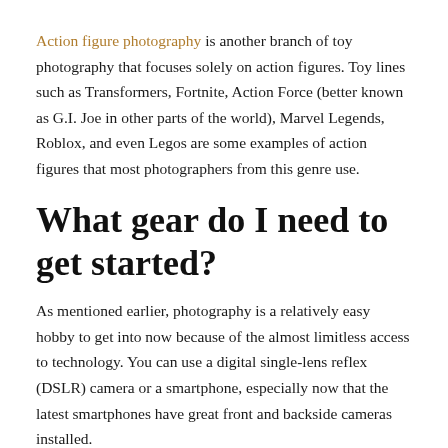Action figure photography is another branch of toy photography that focuses solely on action figures. Toy lines such as Transformers, Fortnite, Action Force (better known as G.I. Joe in other parts of the world), Marvel Legends, Roblox, and even Legos are some examples of action figures that most photographers from this genre use.
What gear do I need to get started?
As mentioned earlier, photography is a relatively easy hobby to get into now because of the almost limitless access to technology. You can use a digital single-lens reflex (DSLR) camera or a smartphone, especially now that the latest smartphones have great front and backside cameras installed.